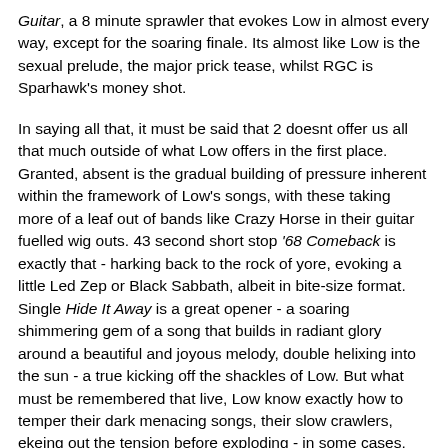Guitar, a 8 minute sprawler that evokes Low in almost every way, except for the soaring finale. Its almost like Low is the sexual prelude, the major prick tease, whilst RGC is Sparhawk's money shot.
In saying all that, it must be said that 2 doesnt offer us all that much outside of what Low offers in the first place. Granted, absent is the gradual building of pressure inherent within the framework of Low's songs, with these taking more of a leaf out of bands like Crazy Horse in their guitar fuelled wig outs. 43 second short stop '68 Comeback is exactly that - harking back to the rock of yore, evoking a little Led Zep or Black Sabbath, albeit in bite-size format. Single Hide It Away is a great opener - a soaring shimmering gem of a song that builds in radiant glory around a beautiful and joyous melody, double helixing into the sun - a true kicking off the shackles of Low. But what must be remembered that live, Low know exactly how to temper their dark menacing songs, their slow crawlers, ekeing out the tension before exploding - in some cases, such as 08's End of the Road festival, LITERALLY - into bursts of glorious, visceral, melodic, feedback drenched violence. So songs such as Poor Man's Daughter and Your